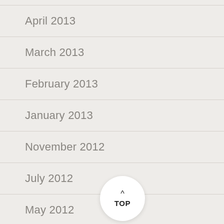April 2013
March 2013
February 2013
January 2013
November 2012
July 2012
May 2012
February 2012
[Figure (other): A circular white button with an up-arrow caret and the text TOP in bold, used as a back-to-top navigation element]